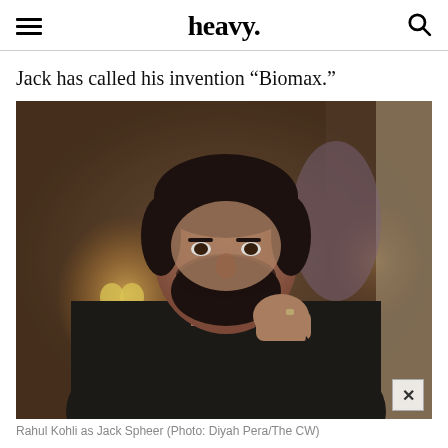heavy.
Jack has called his invention “Biomax.”
[Figure (photo): A man with dark hair and a beard wearing a black sweater, sitting thoughtfully with his fist near his chin. The background is blurred with warm amber/orange lights visible. This is Rahul Kohli as Jack Spheer.]
Rahul Kohli as Jack Spheer (Photo: Diyah Pera/The CW)